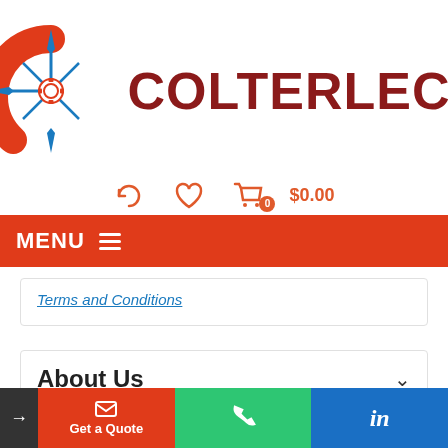[Figure (logo): Colterlec logo with red compass/phone graphic and dark red bold text COLTERLEC with TM superscript]
Terms and Conditions
About Us
Home
Our Brands
→  Get a Quote  [phone]  in